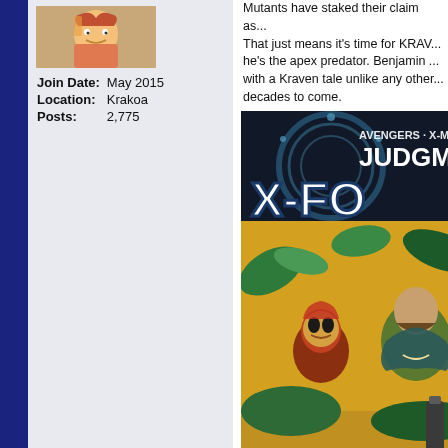[Figure (illustration): Forum user avatar showing a colorful illustrated character]
| Join Date: | May 2015 |
| Location: | Krakoa |
| Posts: | 2,775 |
Mutants have staked their claim as... That just means it's time for KRAV... he's the apex predator. Benjamin ... with a Kraven tale unlike any other... decades to come.
[Figure (illustration): X-Force comic book cover featuring Avengers X-Men Judgment crossover, showing characters including Kraven the Hunter in jungle setting with X-Force logo]